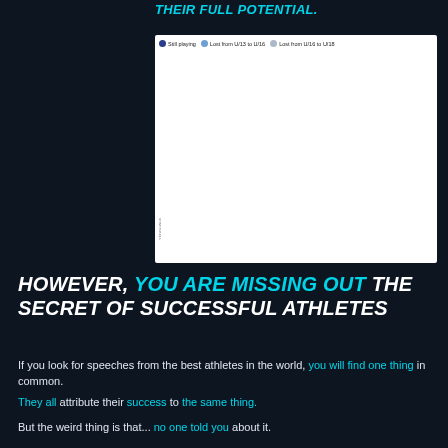THEIR FULL POTENTIAL.
[Figure (infographic): Waffle/isotype chart showing youth athlete dropout rates. Legend: Still playing (dark blue), Lost from U/13 to U/16 (light blue), Lost from U/16 to U/18 (grey). Rows of person icons in three colors representing proportions still playing vs dropped out at different age stages.]
HOWEVER, YOU ARE MISSING OUT THE SECRET OF SUCCESSFUL ATHLETES
If you look for speeches from the best athletes in the world, you will find one thing in common.
They all attribute their success to the same thing.
But the weird thing is that... no one told you about it.